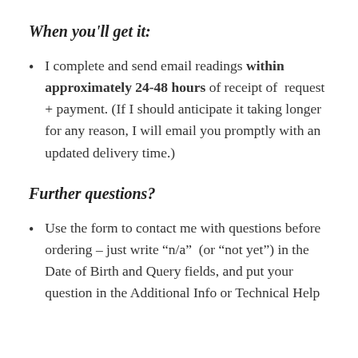When you'll get it:
I complete and send email readings within approximately 24-48 hours of receipt of request + payment. (If I should anticipate it taking longer for any reason, I will email you promptly with an updated delivery time.)
Further questions?
Use the form to contact me with questions before ordering – just write "n/a" (or "not yet") in the Date of Birth and Query fields, and put your question in the Additional Info or Technical Help